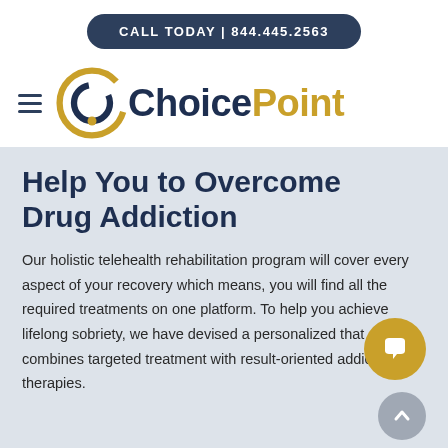CALL TODAY | 844.445.2563
[Figure (logo): ChoicePoint logo with circular arrow icon in gold and navy, text 'Choice' in navy and 'Point' in gold]
Help You to Overcome Drug Addiction
Our holistic telehealth rehabilitation program will cover every aspect of your recovery which means, you will find all the required treatments on one platform. To help you achieve lifelong sobriety, we have devised a personalized that combines targeted treatment with result-oriented addiction therapies.